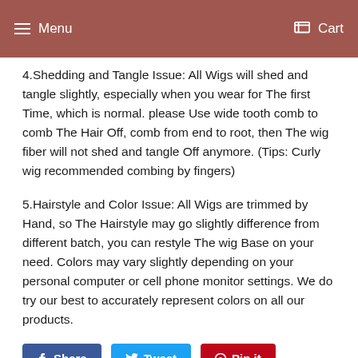Menu  Cart
4.Shedding and Tangle Issue: All Wigs will shed and tangle slightly, especially when you wear for The first Time, which is normal. please Use wide tooth comb to comb The Hair Off, comb from end to root, then The wig fiber will not shed and tangle Off anymore. (Tips: Curly wig recommended combing by fingers)
5.Hairstyle and Color Issue: All Wigs are trimmed by Hand, so The Hairstyle may go slightly difference from different batch, you can restyle The wig Base on your need. Colors may vary slightly depending on your personal computer or cell phone monitor settings. We do try our best to accurately represent colors on all our products.
Share  Tweet  Pin it
We Also Recommend